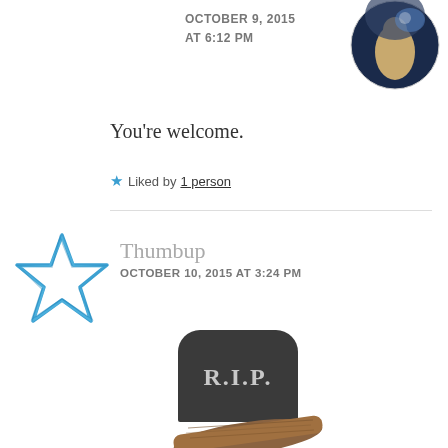[Figure (photo): Circular avatar photo of a person with arms raised against a cosmic/galaxy background]
OCTOBER 9, 2015
AT 6:12 PM
You're welcome.
★ Liked by 1 person
[Figure (illustration): Blue outlined star icon used as avatar for commenter Thumbup]
Thumbup
OCTOBER 10, 2015 AT 3:24 PM
[Figure (illustration): R.I.P. gravestone illustration with a wooden coffin or cross piece at the bottom]